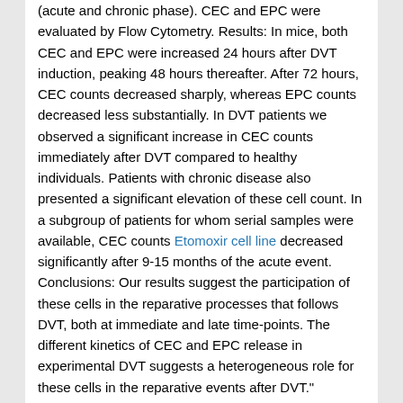(acute and chronic phase). CEC and EPC were evaluated by Flow Cytometry. Results: In mice, both CEC and EPC were increased 24 hours after DVT induction, peaking 48 hours thereafter. After 72 hours, CEC counts decreased sharply, whereas EPC counts decreased less substantially. In DVT patients we observed a significant increase in CEC counts immediately after DVT compared to healthy individuals. Patients with chronic disease also presented a significant elevation of these cell count. In a subgroup of patients for whom serial samples were available, CEC counts Etomoxir cell line decreased significantly after 9-15 months of the acute event. Conclusions: Our results suggest the participation of these cells in the reparative processes that follows DVT, both at immediate and late time-points. The different kinetics of CEC and EPC release in experimental DVT suggests a heterogeneous role for these cells in the reparative events after DVT."
“We
report multifunctional properties of the charge disproportionate correlated AZ-628 electronic system